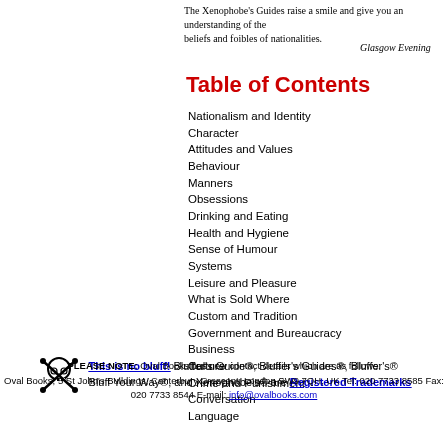The Xenophobe's Guides raise a smile and give you an understanding of the beliefs and foibles of nationalities.
Glasgow Evening
Table of Contents
Nationalism and Identity
Character
Attitudes and Values
Behaviour
Manners
Obsessions
Drinking and Eating
Health and Hygiene
Sense of Humour
Systems
Leisure and Pleasure
What is Sold Where
Custom and Tradition
Government and Bureaucracy
Business
Culture
Crime and Punishment
Conversation
Language
This is no bluff! Bluffer's Guide®, Bluffer's Guides®, Bluffer's® Bluff Your Way®, and Xenophobe's® are Registered Trademarks
PLEASE NOTE: Oval Books has new contact details which are as follows: Oval Books, 5 St John's Buildings, Canterbury Crescent, London SW9 7QH, UK Tel: 020 7733 8585 Fax: 020 7733 8544 E-mail: info@ovalbooks.com